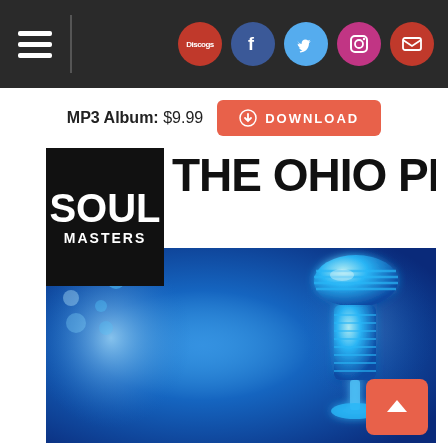Navigation bar with hamburger menu and social icons: Discogs, Facebook, Twitter, Instagram, Mail
MP3 Album: $9.99  DOWNLOAD
[Figure (illustration): Soul Masters - The Ohio Players album cover with a blue background featuring a vintage microphone glowing in blue tones, with 'SOUL MASTERS' black label box top-left and 'THE OHIO PLAYERS' text in large black bold letters]